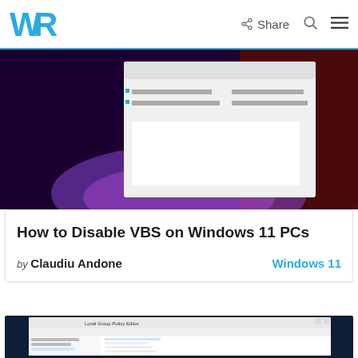WR | Share
[Figure (screenshot): Screenshot of a Windows dialog box with settings options, shown against a dark purple/red gradient background]
How to Disable VBS on Windows 11 PCs
by Claudiu Andone   Windows 11
[Figure (screenshot): Screenshot of Local Group Policy Editor on Windows 11 showing Administrative Templates folder structure]